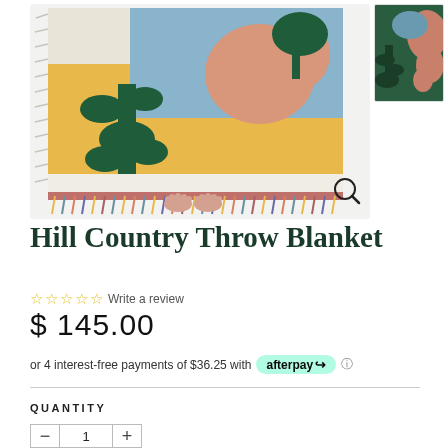[Figure (photo): Main product photo of Hill Country Throw Blanket — colorful woven blanket with abstract shapes including a dark green cactus/plant, yellow-gold background, blue and pink organic shapes, held up by a person showing only their bare feet below the blanket; blanket has multicolored fringe along the bottom]
[Figure (photo): Thumbnail image of the Hill Country Throw Blanket showing the back or detail side with dark green background and pink/orange abstract plant shapes]
Hill Country Throw Blanket
☆☆☆☆☆ Write a review
$ 145.00
or 4 interest-free payments of $36.25 with afterpay
QUANTITY
1